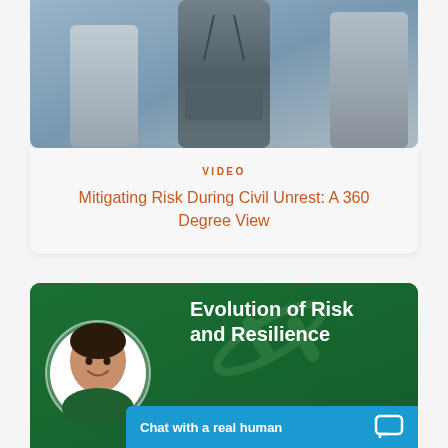[Figure (photo): Photo of people in hoodies/sweatshirts, blue-grey toned image, crowd scene suggesting civil unrest]
VIDEO
Mitigating Risk During Civil Unrest: A 360 Degree View
[Figure (photo): Green banner with woman's headshot in circular frame, text reading 'Evolution of Risk and Resilience', and blue chat bar at bottom reading 'Chat with a real human']
Evolution of Risk and Resilience
Chat with a real human